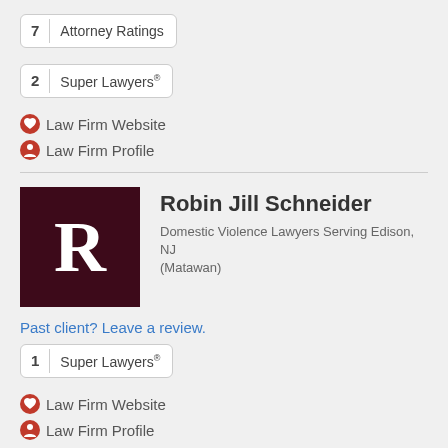7 Attorney Ratings
2 Super Lawyers®
Law Firm Website
Law Firm Profile
[Figure (logo): Dark maroon square logo with white letter R in serif font]
Robin Jill Schneider
Domestic Violence Lawyers Serving Edison, NJ (Matawan)
Past client? Leave a review.
1 Super Lawyers®
Law Firm Website
Law Firm Profile